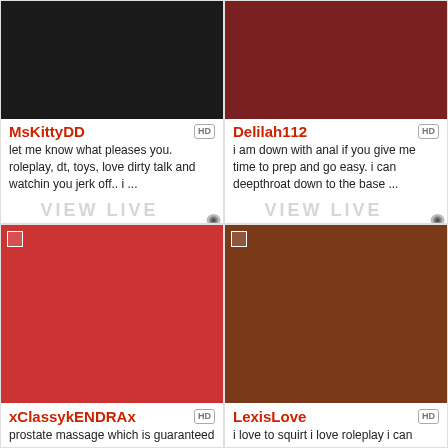[Figure (photo): Profile photo of MsKittyDD - dark silhouette image]
MsKittyDD
let me know what pleases you. roleplay, dt, toys, love dirty talk and watchin you jerk off.. i ...
[Figure (photo): VIEW LIVE WEBCAM button with webcam icon]
[Figure (photo): Profile photo of Delilah112 - feet/legs on red bedding]
Delilah112
i am down with anal if you give me time to prep and go easy. i can deepthroat down to the base ...
[Figure (photo): VIEW LIVE WEBCAM button with webcam icon]
[Figure (photo): Profile photo of xClassykENDRAx - woman in red dress]
xClassykENDRAx
prostate massage which is guaranteed to drain your balls
[Figure (photo): Profile photo of LexisLove - woman with red hair in front of brick wall]
LexisLove
i love to squirt i love roleplay i can rolepaly any thing that turns you on make me horny just ...